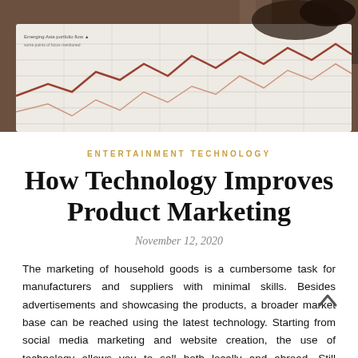[Figure (photo): Close-up photo of a financial chart/graph paper with a pen or stylus, showing line graphs. The paper has grid lines and curve lines in brown/red tones suggesting stock market or portfolio data.]
ENTERTAINMENT TECHNOLOGY
How Technology Improves Product Marketing
November 12, 2020
The marketing of household goods is a cumbersome task for manufacturers and suppliers with minimal skills. Besides advertisements and showcasing the products, a broader market base can be reached using the latest technology. Starting from social media marketing and website creation, the use of technology allows you to sell both locally and abroad. Still wondering how you can use technology to your